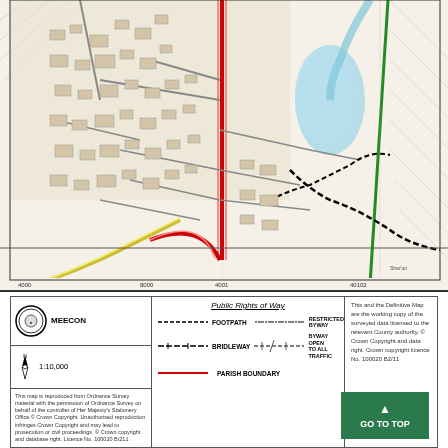[Figure (map): Ordnance Survey topographic map showing a town area with roads, water features (river/lake in cyan/blue), footpaths shown as dashed lines, a red road running vertically through center, a green line on the right, diagonal hatched boundary lines, and grid references at bottom (4000, 8000, 4001, 40102). Black dashed route marked across the map.]
[Figure (logo): Circular black and white logo/seal for MEECON organization]
MEECON
1:10,000
This map is reproduced from Ordnance Survey material with the permission of Ordnance Survey on behalf of the controller of Her Majesty's Stationery Office © Crown Copyright. Unauthorised reproduction infringes Crown Copyright and may lead to prosecution or civil proceedings. © Crown copyright and database right. Licence No. 100020 B/211
Public Rights of Way
FOOTPATH
RESTRICTED BYWAY
BRIDLEWAY
BYWAY OPEN TO ALL TRAFFIC
PARISH BOUNDARY
This and the Definitive Map are the working copies of the surveyed data licensed to the relevant County authority. © Crown Copyright and data right. Crown copyright licence No. 100020 B2/11